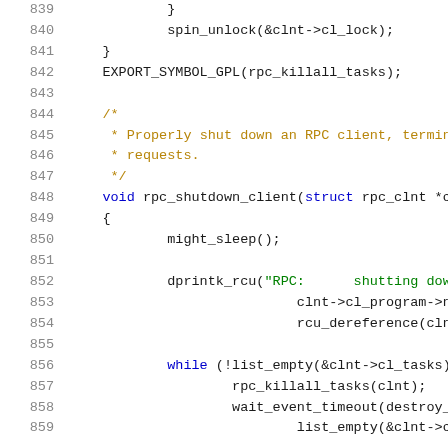[Figure (screenshot): Source code listing (C/Linux kernel) showing lines 839-859, with syntax highlighting. Lines include closing braces, spin_unlock, EXPORT_SYMBOL_GPL, a block comment about shutting down RPC client, and rpc_shutdown_client function with might_sleep, dprintk_rcu, and while loop.]